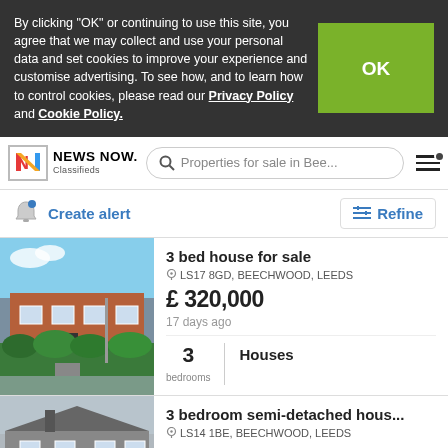By clicking "OK" or continuing to use this site, you agree that we may collect and use your personal data and set cookies to improve your experience and customise advertising. To see how, and to learn how to control cookies, please read our Privacy Policy and Cookie Policy.
[Figure (screenshot): News Now Classifieds logo with colorful N icon, search bar reading 'Properties for sale in Bee...', and hamburger menu icon]
Create alert
Refine
3 bed house for sale
LS17 8GD, BEECHWOOD, LEEDS
£ 320,000
17 days ago
3 bedrooms | Houses
[Figure (photo): Photo of a red-brick terraced house with green hedge in front]
3 bedroom semi-detached hous...
LS14 1BE, BEECHWOOD, LEEDS
£ 180,000
[Figure (photo): Photo of a grey semi-detached house]